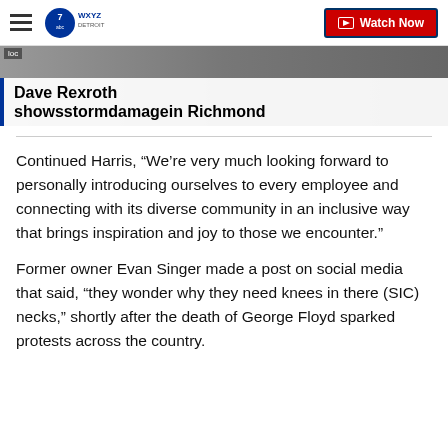WXYZ Detroit — Watch Now
[Figure (screenshot): Video thumbnail showing hands working on something, with overlay title text]
Dave Rexroth showsstormdamagein Richmond
Continued Harris, “We’re very much looking forward to personally introducing ourselves to every employee and connecting with its diverse community in an inclusive way that brings inspiration and joy to those we encounter.”
Former owner Evan Singer made a post on social media that said, “they wonder why they need knees in there (SIC) necks,” shortly after the death of George Floyd sparked protests across the country.